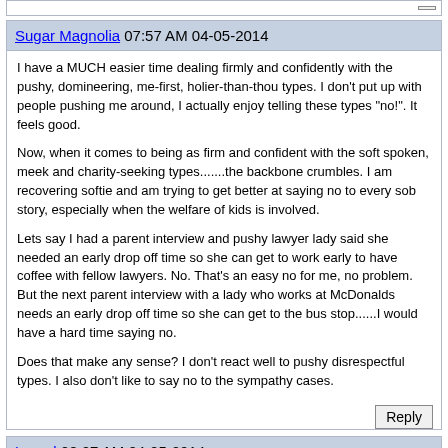Sugar Magnolia 07:57 AM 04-05-2014
I have a MUCH easier time dealing firmly and confidently with the pushy, domineering, me-first, holier-than-thou types. I don't put up with people pushing me around, I actually enjoy telling these types "no!". It feels good.

Now, when it comes to being as firm and confident with the soft spoken, meek and charity-seeking types.......the backbone crumbles. I am recovering softie and am trying to get better at saying no to every sob story, especially when the welfare of kids is involved.

Lets say I had a parent interview and pushy lawyer lady said she needed an early drop off time so she can get to work early to have coffee with fellow lawyers. No. That's an easy no for me, no problem. But the next parent interview with a lady who works at McDonalds needs an early drop off time so she can get to the bus stop......I would have a hard time saying no.

Does that make any sense? I don't react well to pushy disrespectful types. I also don't like to say no to the sympathy cases.
Laurel 08:07 AM 04-05-2014
Originally Posted by KiddieCahoots: This is my biggest problem in child care, and I would greatly appreciate any help deciphering the better of the two, or a new route altogether?